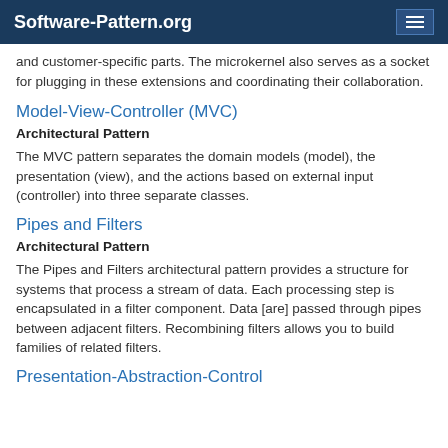Software-Pattern.org
and customer-specific parts. The microkernel also serves as a socket for plugging in these extensions and coordinating their collaboration.
Model-View-Controller (MVC)
Architectural Pattern
The MVC pattern separates the domain models (model), the presentation (view), and the actions based on external input (controller) into three separate classes.
Pipes and Filters
Architectural Pattern
The Pipes and Filters architectural pattern provides a structure for systems that process a stream of data. Each processing step is encapsulated in a filter component. Data [are] passed through pipes between adjacent filters. Recombining filters allows you to build families of related filters.
Presentation-Abstraction-Control